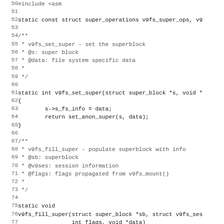[Figure (screenshot): Source code listing in monospace font showing C code for v9fs filesystem functions, lines 50-82. Includes static declarations, doc comments, and function bodies for v9fs_set_super and v9fs_fill_super.]